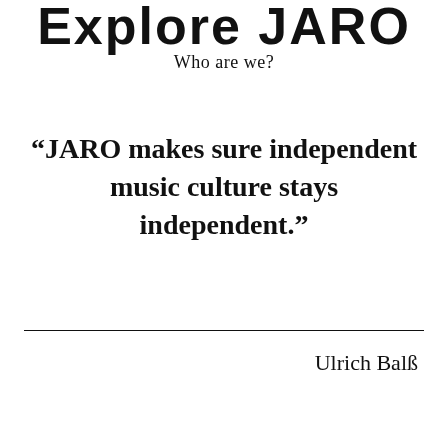Explore JARO
Who are we?
“JARO makes sure independent music culture stays independent.”
Ulrich Balß